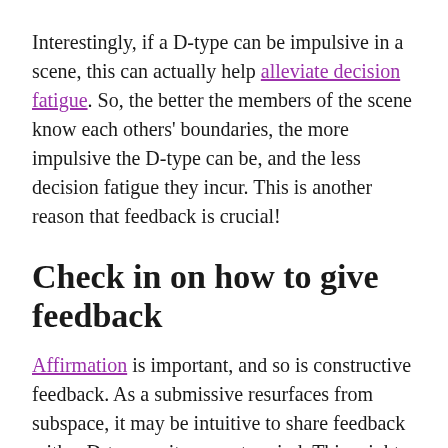Interestingly, if a D-type can be impulsive in a scene, this can actually help alleviate decision fatigue. So, the better the members of the scene know each others' boundaries, the more impulsive the D-type can be, and the less decision fatigue they incur. This is another reason that feedback is crucial!
Check in on how to give feedback
Affirmation is important, and so is constructive feedback. As a submissive resurfaces from subspace, it may be intuitive to share feedback with a D-type as it comes to mind. This might work well for some people, but not for everyone.
One way to care for a D-type is to check in with them on